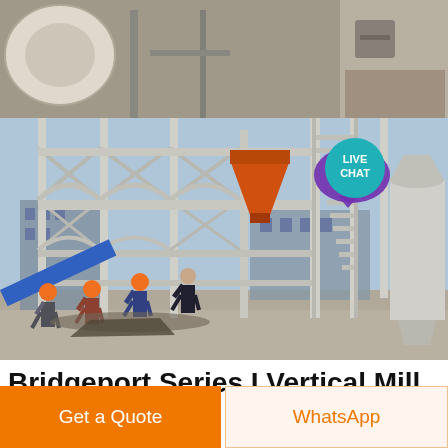[Figure (photo): Industrial milling/processing plant with large metal framework, staircases, an orange hopper/cone, a cylindrical silo, and four people in orange hard hats walking in the foreground on a concrete yard. Top strip shows a close-up detail of machinery. A 'LIVE CHAT' badge with speech bubble icon appears in the upper right.]
Bridgeport Series I Vertical Mill 9 x 42
Get a Quote
WhatsApp